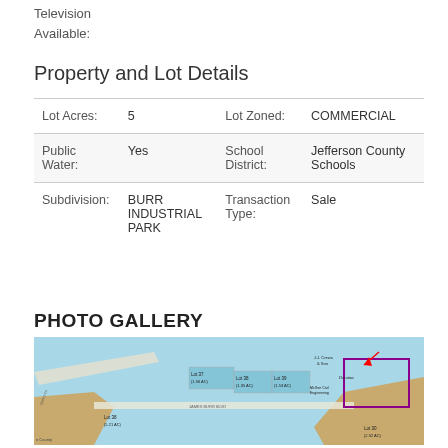Television
Available:
Property and Lot Details
| Lot Acres: | 5 | Lot Zoned: | COMMERCIAL |
| Public Water: | Yes | School District: | Jefferson County Schools |
| Subdivision: | BURR INDUSTRIAL PARK | Transaction Type: | Sale |
PHOTO GALLERY
[Figure (map): Aerial map of Burr Industrial Park showing lots including Lot 37 (1.96 AC), Lot 38 (1.35 AC), Lot 39 (1.53 AC), Lot 38 (5.21 AC), Lot 30 (2.92 AC), and nearby businesses including J.J. Crews & Son, Duratrac, McGee Civil Engineering. James Burr Blvd visible.]